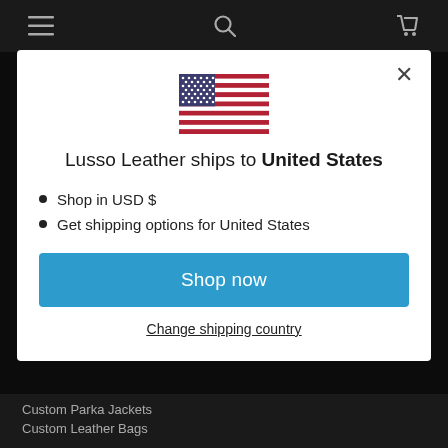Navigation bar with hamburger menu, search, and cart icons
[Figure (illustration): US flag emoji/icon centered in modal]
Lusso Leather ships to United States
Shop in USD $
Get shipping options for United States
Shop now
Change shipping country
Custom Parka Jackets
Custom Leather Bags